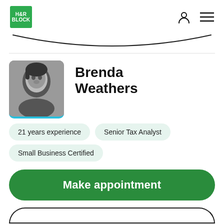H&R Block
[Figure (illustration): Search bar curve/dropdown UI element]
Brenda Weathers
[Figure (photo): Black and white profile photo of Brenda Weathers]
21 years experience
Senior Tax Analyst
Small Business Certified
Make appointment